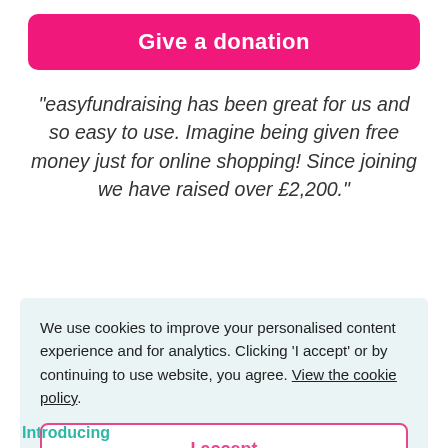[Figure (other): Pink 'Give a donation' button]
“easyfundraising has been great for us and so easy to use. Imagine being given free money just for online shopping! Since joining we have raised over £2,200.”
[Figure (logo): Trustpilot logo with green star, partially visible behind cookie modal]
Trustpilot score 4.9 | 3,982 reviews
We use cookies to improve your personalised content experience and for analytics. Clicking ‘I accept’ or by continuing to use website, you agree. View the cookie policy.
[Figure (other): 'I accept' button in cookie consent modal]
Introducing